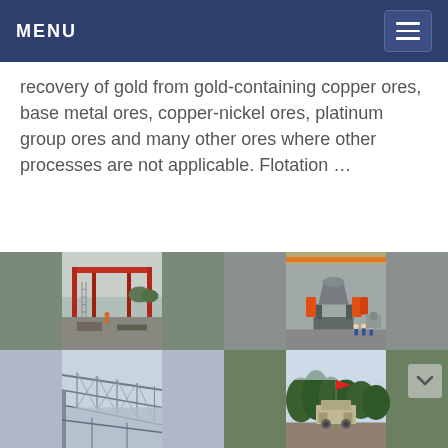MENU
recovery of gold from gold-containing copper ores, base metal ores, copper-nickel ores, platinum group ores and many other ores where other processes are not applicable. Flotation …
[Figure (photo): Industrial mining/construction site with red steel beam structure overhead and workers below, outdoor setting]
[Figure (photo): Large grey cone crusher machine with orange cylindrical tanks on base, inside a factory/warehouse with workers in blue uniforms]
[Figure (photo): Steel lattice roof/truss structure viewed from below, blue sky visible]
[Figure (photo): Outdoor mining equipment with red flag, green trees in background]